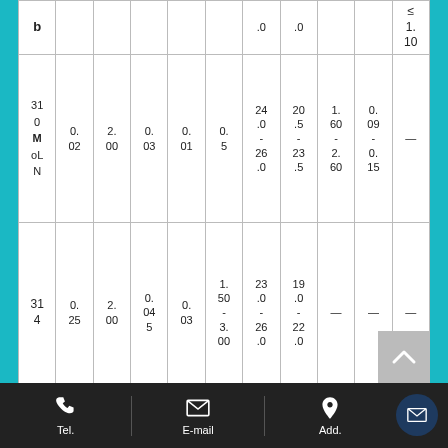| b |  |  |  |  |  | .0 | .0 |  |  | ≤
1.
10 |
| 310
M
oLN | 0.
02 | 2.
00 | 0.
03 | 0.
01 | 0.
5 | 24
.0
-
26
.0 | 20
.5
-
23
.5 | 1.
60
-
2.
60 | 0.
09
-
0.
15 | — |
| 314 | 0.
25 | 2.
00 | 0.
04
5 | 0.
03 | 1.
50
-
3.
00 | 23
.0
-
26
.0 | 19
.0
-
22
.0 | — | — | — |
Tel.   E-mail   Add.